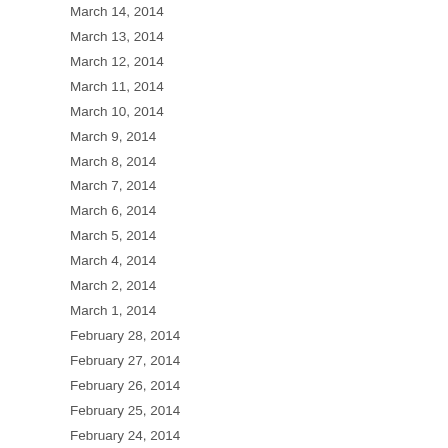| Date | Count |
| --- | --- |
| March 14, 2014 | 3 |
| March 13, 2014 | 10 |
| March 12, 2014 | 1 |
| March 11, 2014 | 5 |
| March 10, 2014 | 8 |
| March 9, 2014 | 7 |
| March 8, 2014 | 7 |
| March 7, 2014 | 9 |
| March 6, 2014 | 7 |
| March 5, 2014 | 9 |
| March 4, 2014 | 11 |
| March 2, 2014 | 7 |
| March 1, 2014 | 7 |
| February 28, 2014 | 9 |
| February 27, 2014 | 9 |
| February 26, 2014 | 5 |
| February 25, 2014 | 6 |
| February 24, 2014 | 9 |
| February 22, 2014 | 5 |
| February 21, 2014 | 5 |
| February 20, 2014 | 17 |
| February 18, 2014 | 3 |
| February 17, 2014 | 0 |
| February 16, 2014 |  |